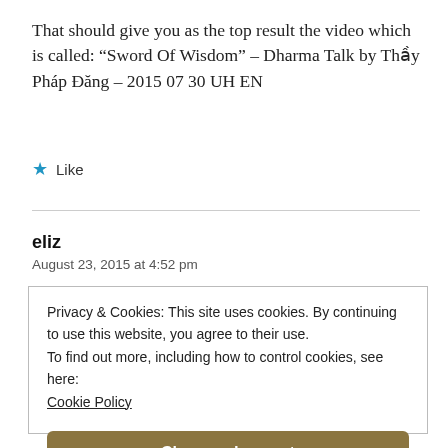That should give you as the top result the video which is called: “Sword Of Wisdom” – Dharma Talk by Thầy Pháp Đăng – 2015 07 30 UH EN
★ Like
eliz
August 23, 2015 at 4:52 pm
Privacy & Cookies: This site uses cookies. By continuing to use this website, you agree to their use.
To find out more, including how to control cookies, see here:
Cookie Policy
Close and accept